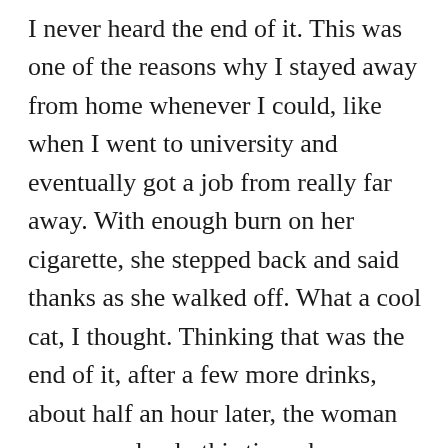I never heard the end of it. This was one of the reasons why I stayed away from home whenever I could, like when I went to university and eventually got a job from really far away. With enough burn on her cigarette, she stepped back and said thanks as she walked off. What a cool cat, I thought. Thinking that was the end of it, after a few more drinks, about half an hour later, the woman reappeared only this time she was with two others younger than her. This time, I saw them approaching me as they walked through the shoal of fishes who were lured in this place like me. “I’m sorry to bother you again, but can I borrow some light?” I always thought it was weird how people phrase that — “Borrowing light.” Anyway,